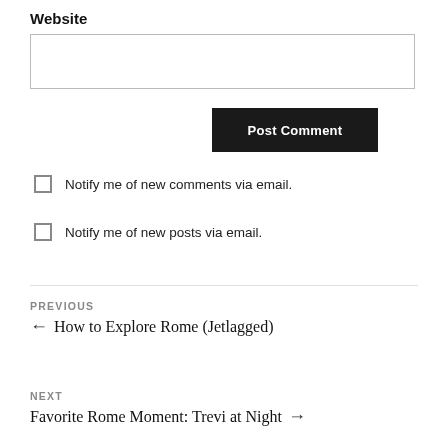Website
Post Comment
Notify me of new comments via email.
Notify me of new posts via email.
PREVIOUS
← How to Explore Rome (Jetlagged)
NEXT
Favorite Rome Moment: Trevi at Night →